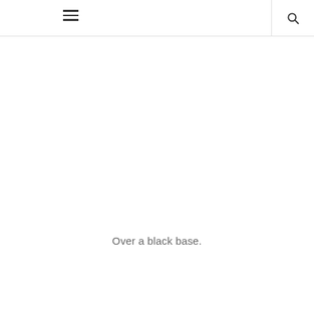[menu icon] [search icon]
Over a black base.